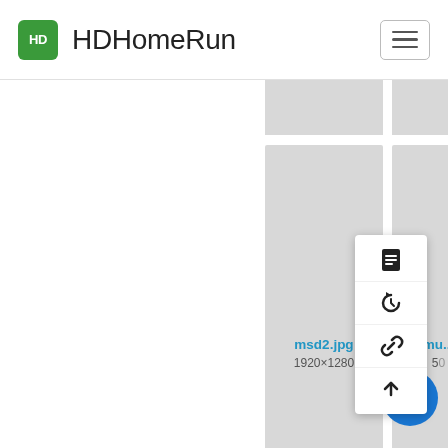[Figure (screenshot): HDHomeRun web app interface showing a file browser grid with file cards. Top navigation bar with HDHomeRun logo and hamburger menu. Two visible file cards: msd2.jpg (1920x1280, 2019/09/10 01:43, 173.2 KB) and a partially visible card (mu..., partially showing). A context menu is open with four icons: document, history/undo, link, and upload arrow. A blue chat FAB button is visible at bottom right.]